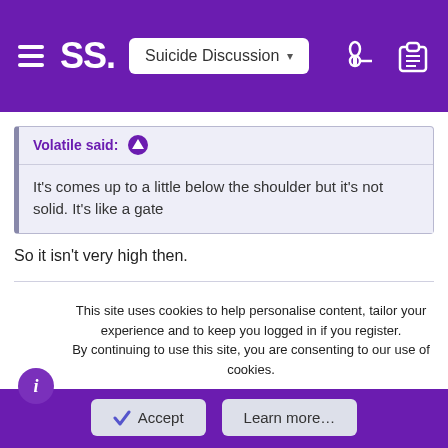SS. Suicide Discussion
Volatile said: ↑
It's comes up to a little below the shoulder but it's not solid. It's like a gate
So it isn't very high then.
Volatile
God
Jun 18, 2018  1,286
This site uses cookies to help personalise content, tailor your experience and to keep you logged in if you register.
By continuing to use this site, you are consenting to our use of cookies.
✔ Accept
Learn more…